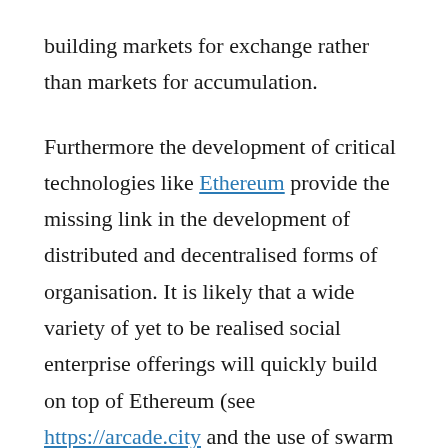building markets for exchange rather than markets for accumulation.
Furthermore the development of critical technologies like Ethereum provide the missing link in the development of distributed and decentralised forms of organisation. It is likely that a wide variety of yet to be realised social enterprise offerings will quickly build on top of Ethereum (see https://arcade.city and the use of swarm organisation) thus